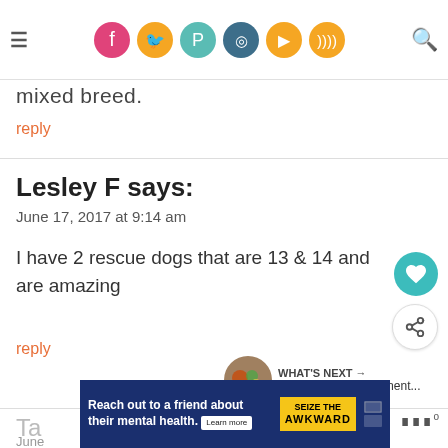Navigation header with social icons (Facebook, Twitter, Pinterest, Instagram, YouTube, RSS) and search
mixed breed.
reply
Lesley F says:
June 17, 2017 at 9:14 am
I have 2 rescue dogs that are 13 & 14 and are amazing
reply
WHAT'S NEXT → DIY Pom Pom Ornament...
Ta
June
[Figure (screenshot): Advertisement banner: Reach out to a friend about their mental health. Learn more. SEIZE THE AWKWARD badge.]